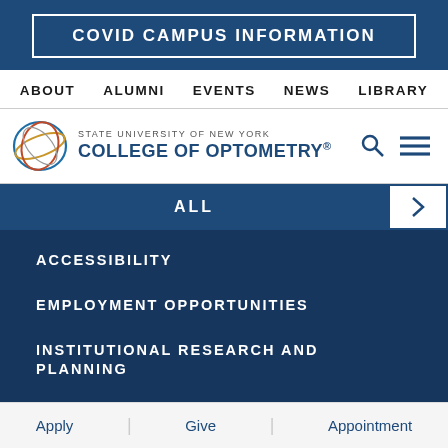COVID CAMPUS INFORMATION
ABOUT  ALUMNI  EVENTS  NEWS  LIBRARY
[Figure (logo): State University of New York College of Optometry logo with circular globe graphic]
ALL
ACCESSIBILITY
EMPLOYMENT OPPORTUNITIES
INSTITUTIONAL RESEARCH AND PLANNING
POLICY CATALOGUE
PRIVACY POLICY
OFFICE 365
Apply  Give  Appointment